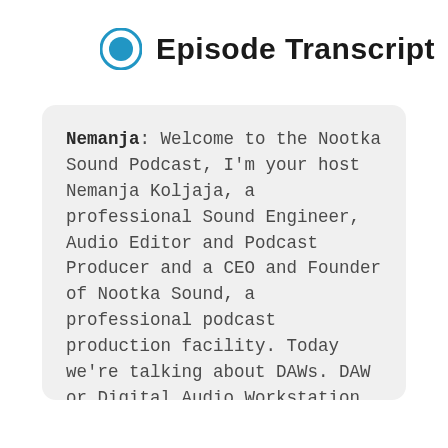Episode Transcript
Nemanja: Welcome to the Nootka Sound Podcast, I'm your host Nemanja Koljaja, a professional Sound Engineer, Audio Editor and Podcast Producer and a CEO and Founder of Nootka Sound, a professional podcast production facility. Today we're talking about DAWs. DAW or Digital Audio Workstation is a computer software specifically made for audio